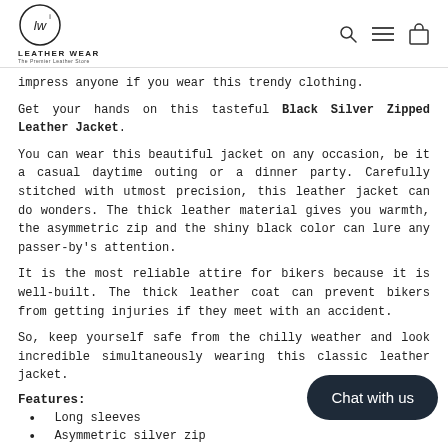LEATHER WEAR — The Premier Leather Store
impress anyone if you wear this trendy clothing.
Get your hands on this tasteful Black Silver Zipped Leather Jacket.
You can wear this beautiful jacket on any occasion, be it a casual daytime outing or a dinner party. Carefully stitched with utmost precision, this leather jacket can do wonders. The thick leather material gives you warmth, the asymmetric zip and the shiny black color can lure any passer-by's attention.
It is the most reliable attire for bikers because it is well-built. The thick leather coat can prevent bikers from getting injuries if they meet with an accident.
So, keep yourself safe from the chilly weather and look incredible simultaneously wearing this classic leather jacket.
Features:
Long sleeves
Asymmetric silver zip